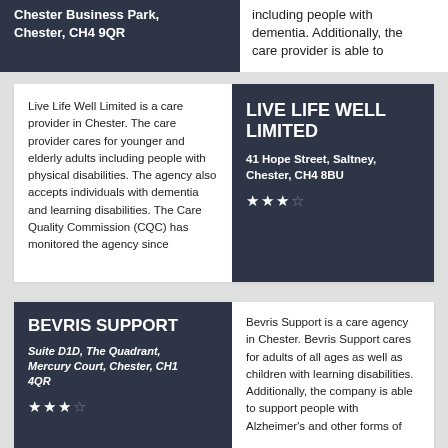Chester Business Park, Chester, CH4 9QR
including people with dementia. Additionally, the care provider is able to
Live Life Well Limited is a care provider in Chester. The care provider cares for younger and elderly adults including people with physical disabilities. The agency also accepts individuals with dementia and learning disabilities. The Care Quality Commission (CQC) has monitored the agency since
LIVE LIFE WELL LIMITED
41 Hope Street, Saltney, Chester, CH4 8BU
BEVRIS SUPPORT
Suite D1D, The Quadrant, Mercury Court, Chester, CH1 4QR
Bevris Support is a care agency in Chester. Bevris Support cares for adults of all ages as well as children with learning disabilities. Additionally, the company is able to support people with Alzheimer's and other forms of